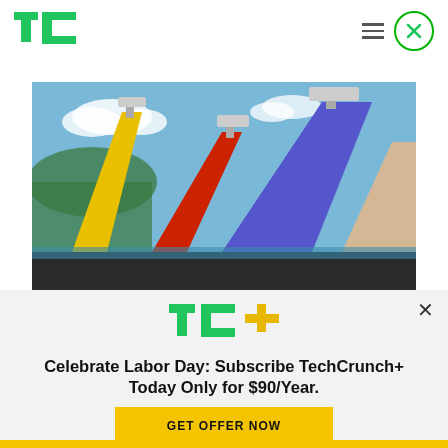[Figure (logo): TechCrunch logo — TC in green on white background]
[Figure (photo): Colorful water park slides (yellow, red/orange, purple/blue) against a blue sky with mountains in the background]
[Figure (logo): TC+ logo in green and yellow]
Celebrate Labor Day: Subscribe TechCrunch+ Today Only for $90/Year.
GET OFFER NOW